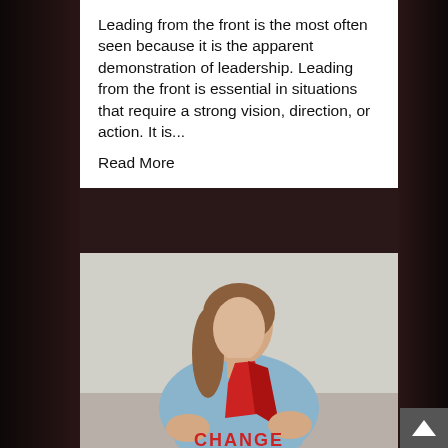Leading from the front is the most often seen because it is the apparent demonstration of leadership. Leading from the front is essential in situations that require a strong vision, direction, or action. It is... Read More
[Figure (photo): Woman in blue shirt with red cape partially open revealing shirt reading 'CHANGE', looking upward in a superhero pose]